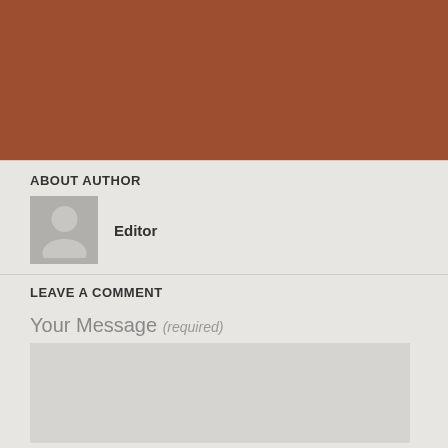[Figure (other): Brown/rust colored header banner area]
ABOUT AUTHOR
[Figure (illustration): Gray avatar/person silhouette icon]
Editor
LEAVE A COMMENT
Your Message (required)
[Figure (other): Empty text area input box]
Name (required)